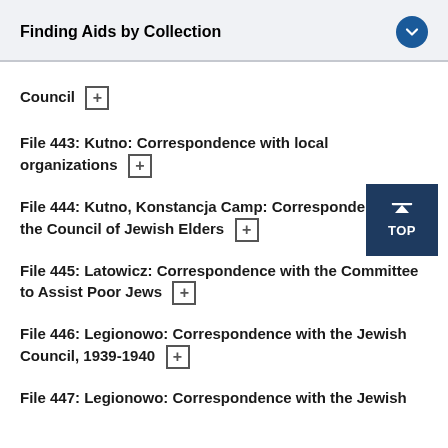Finding Aids by Collection
Council [+]
File 443: Kutno: Correspondence with local organizations [+]
File 444: Kutno, Konstancja Camp: Correspondence with the Council of Jewish Elders [+]
File 445: Latowicz: Correspondence with the Committee to Assist Poor Jews [+]
File 446: Legionowo: Correspondence with the Jewish Council, 1939-1940 [+]
File 447: Legionowo: Correspondence with the Jewish